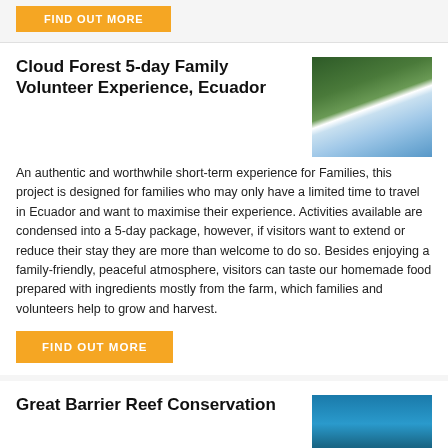[Figure (other): Orange button partially visible at top of page]
Cloud Forest 5-day Family Volunteer Experience, Ecuador
[Figure (photo): Person sliding down a waterfall in a lush green cloud forest in Ecuador]
An authentic and worthwhile short-term experience for Families, this project is designed for families who may only have a limited time to travel in Ecuador and want to maximise their experience. Activities available are condensed into a 5-day package, however, if visitors want to extend or reduce their stay they are more than welcome to do so. Besides enjoying a family-friendly, peaceful atmosphere, visitors can taste our homemade food prepared with ingredients mostly from the farm, which families and volunteers help to grow and harvest.
FIND OUT MORE
Great Barrier Reef Conservation
[Figure (photo): Underwater photo showing snorkeler or diver in blue water at the Great Barrier Reef]